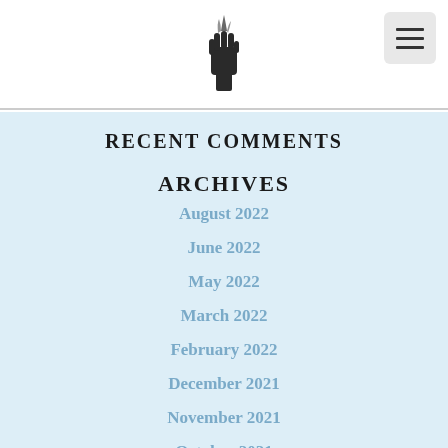[Logo icon] [Hamburger menu button]
RECENT COMMENTS
ARCHIVES
August 2022
June 2022
May 2022
March 2022
February 2022
December 2021
November 2021
October 2021
September 2021